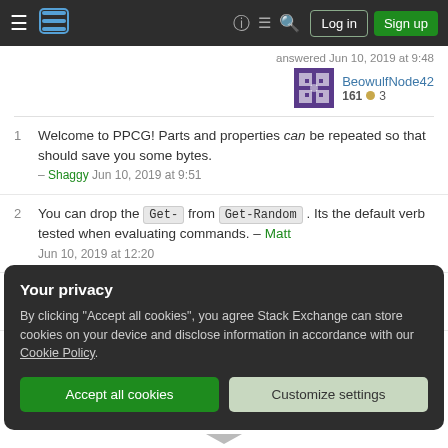Stack Exchange navigation bar with Log in and Sign up buttons
answered Jun 10, 2019 at 9:48
BeowulfNode42 161 ● 3
1  Welcome to PPCG! Parts and properties can be repeated so that should save you some bytes. – Shaggy Jun 10, 2019 at 9:51
2  You can drop the Get- from Get-Random . Its the default verb tested when evaluating commands. – Matt Jun 10, 2019 at 12:20
2  Welcome! Some easy golfs gets you down to 147 bytes – AdmBorkBork Jun 10, 2019 at 13:32
Your privacy
By clicking "Accept all cookies", you agree Stack Exchange can store cookies on your device and disclose information in accordance with our Cookie Policy.